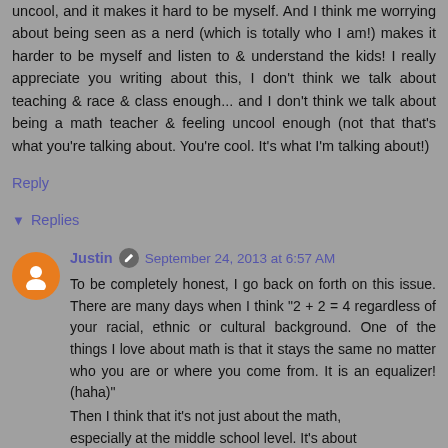uncool, and it makes it hard to be myself. And I think me worrying about being seen as a nerd (which is totally who I am!) makes it harder to be myself and listen to & understand the kids! I really appreciate you writing about this, I don't think we talk about teaching & race & class enough... and I don't think we talk about being a math teacher & feeling uncool enough (not that that's what you're talking about. You're cool. It's what I'm talking about!)
Reply
Replies
Justin  September 24, 2013 at 6:57 AM
To be completely honest, I go back on forth on this issue. There are many days when I think "2 + 2 = 4 regardless of your racial, ethnic or cultural background. One of the things I love about math is that it stays the same no matter who you are or where you come from. It is an equalizer! (haha)"
Then I think that it's not just about the math, especially at the middle school level. It's about